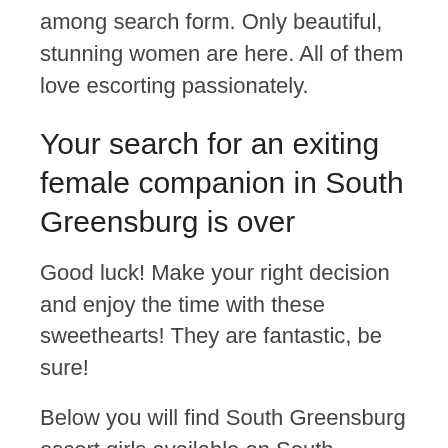among search form. Only beautiful, stunning women are here. All of them love escorting passionately.
Your search for an exiting female companion in South Greensburg is over
Good luck! Make your right decision and enjoy the time with these sweethearts! They are fantastic, be sure!
Below you will find South Greensburg escort girls available on South Greensburg today. Please check the hourly availability and the price for booking. If you are interested - use the contact form directly (located under the description of the girl and her